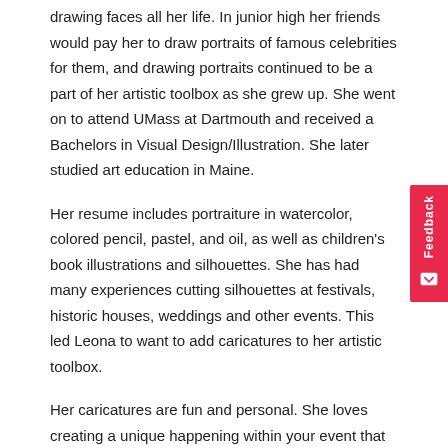drawing faces all her life. In junior high her friends would pay her to draw portraits of famous celebrities for them, and drawing portraits continued to be a part of her artistic toolbox as she grew up. She went on to attend UMass at Dartmouth and received a Bachelors in Visual Design/Illustration. She later studied art education in Maine.
Her resume includes portraiture in watercolor, colored pencil, pastel, and oil, as well as children's book illustrations and silhouettes. She has had many experiences cutting silhouettes at festivals, historic houses, weddings and other events. This led Leona to want to add caricatures to her artistic toolbox.
Her caricatures are fun and personal. She loves creating a unique happening within your event that brings pleasure to your guests and also gives them a special keepsake to take home. As she also has a background in music as a singer songwriter, beware, she could break out in song at any time while drawing your caricature!